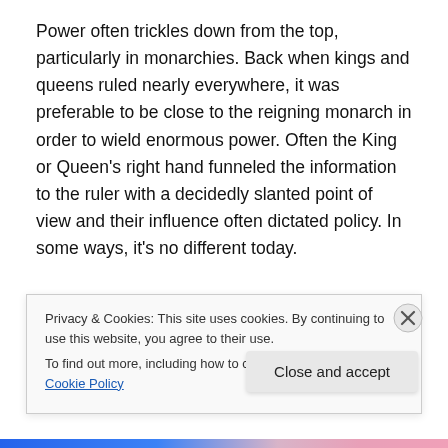Power often trickles down from the top, particularly in monarchies. Back when kings and queens ruled nearly everywhere, it was preferable to be close to the reigning monarch in order to wield enormous power. Often the King or Queen's right hand funneled the information to the ruler with a decidedly slanted point of view and their influence often dictated policy. In some ways, it's no different today.
In the era of Queen Anne (Colman) of England, that spot at her right hand was occupied by Sarah Churchill (Weisz)
Privacy & Cookies: This site uses cookies. By continuing to use this website, you agree to their use.
To find out more, including how to control cookies, see here: Cookie Policy
Close and accept